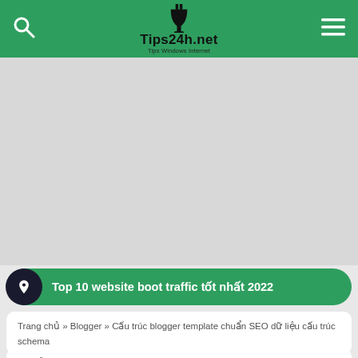Tips24h.net — Tips Windows Internet
[Figure (infographic): Gray advertisement placeholder area]
Top 10 website boot traffic tốt nhất 2022
Trang chủ » Blogger » Cấu trúc blogger template chuẩn SEO dữ liệu cấu trúc schema
Cấu trúc blogger template chuẩn SEO dữ liệu cấu trúc schema